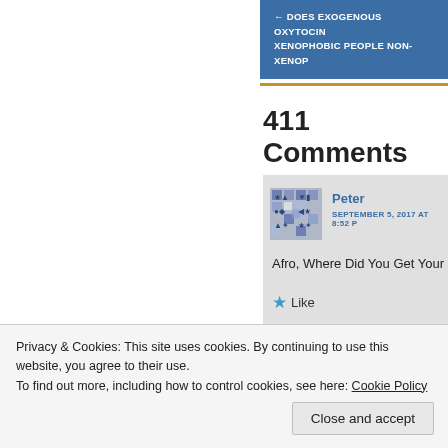← DOES EXOGENOUS OXYTOCIN... XENOPHOBIC PEOPLE NON-XENOP...
411 Comments
Peter
SEPTEMBER 5, 2017 AT 8:52 P
Afro, Where Did You Get Your
Like
Afrosapie
Privacy & Cookies: This site uses cookies. By continuing to use this website, you agree to their use.
To find out more, including how to control cookies, see here: Cookie Policy
Close and accept